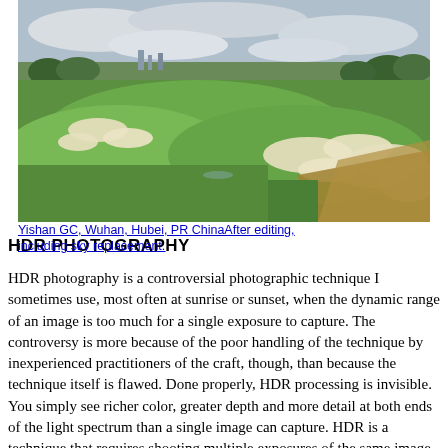[Figure (photo): Aerial-perspective photograph of a golf course with green fairways, white sand bunkers, trees in the background, and a cloudy sky. Located at Yishan GC, Wuhan, Hubei, PR China. Image has been edited including sky replacement.]
Yishan GC, Wuhan, Hubei, PR ChinaAfter editing, including sky replacement.
HDR PHOTOGRAPHY
HDR photography is a controversial photographic technique I sometimes use, most often at sunrise or sunset, when the dynamic range of an image is too much for a single exposure to capture.  The controversy is more because of the poor handling of the technique by inexperienced practitioners of the craft, though, than because the technique itself is flawed.  Done properly, HDR processing is invisible.  You simply see richer color, greater depth and more detail at both ends of the light spectrum than a single image can capture.  HDR is a technique that requires shooting multiple exposures of the same image setup, which are then blended in the studio to create an ...